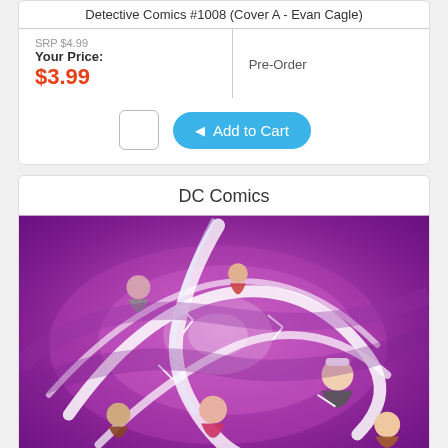Detective Comics #1008 (Cover A - Evan Cagle)
| Price Info | Action |
| --- | --- |
| SRP $4.99
Your Price:
$3.99 | Pre-Order |
[Figure (screenshot): Quantity input box and Add to Cart button]
DC Comics
[Figure (illustration): DC Comics comic book cover art showing a group of people caught in a swirling purple and white energy vortex with lightning effects]